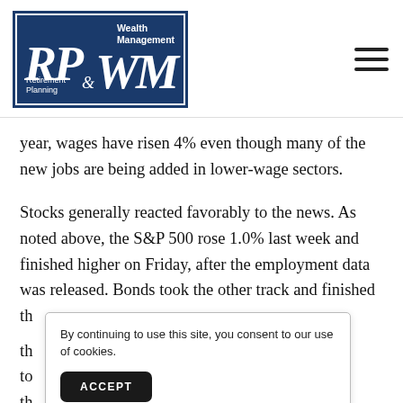[Figure (logo): RP & WM Wealth Management & Retirement Planning logo — dark blue rectangle with white italic lettering and border]
year, wages have risen 4% even though many of the new jobs are being added in lower-wage sectors.
Stocks generally reacted favorably to the news. As noted above, the S&P 500 rose 1.0% last week and finished higher on Friday, after the employment data was released. Bonds took the other track and finished th[e week lower, as interest rates rose. The yield on] to[...] th[...]
By continuing to use this site, you consent to our use of cookies.